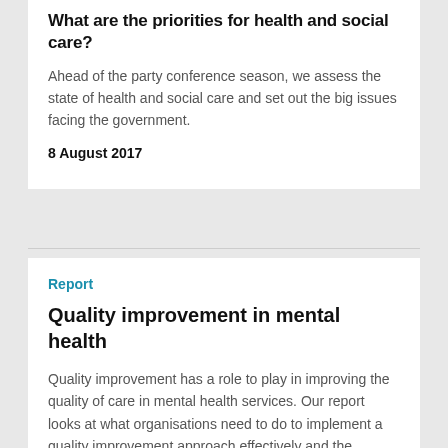What are the priorities for health and social care?
Ahead of the party conference season, we assess the state of health and social care and set out the big issues facing the government.
8 August 2017
Report
Quality improvement in mental health
Quality improvement has a role to play in improving the quality of care in mental health services. Our report looks at what organisations need to do to implement a quality improvement approach effectively and the benefits this can bring.